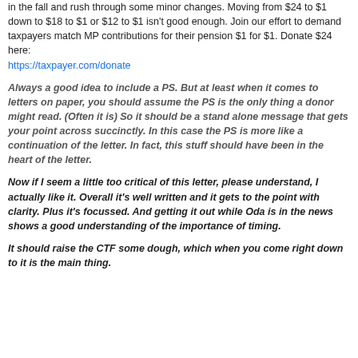in the fall and rush through some minor changes. Moving from $24 to $1 down to $18 to $1 or $12 to $1 isn't good enough. Join our effort to demand taxpayers match MP contributions for their pension $1 for $1. Donate $24 here: https://taxpayer.com/donate
Always a good idea to include a PS. But at least when it comes to letters on paper, you should assume the PS is the only thing a donor might read. (Often it is) So it should be a stand alone message that gets your point across succinctly. In this case the PS is more like a continuation of the letter. In fact, this stuff should have been in the heart of the letter.
Now if I seem a little too critical of this letter, please understand, I actually like it. Overall it's well written and it gets to the point with clarity. Plus it's focussed. And getting it out while Oda is in the news shows a good understanding of the importance of timing.
It should raise the CTF some dough, which when you come right down to it is the main thing.